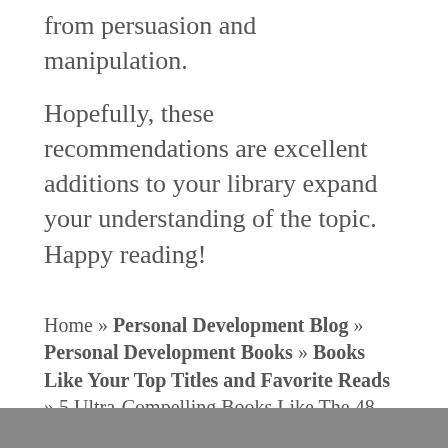from persuasion and manipulation.
Hopefully, these recommendations are excellent additions to your library expand your understanding of the topic. Happy reading!
Home » Personal Development Blog » Personal Development Books » Books Like Your Top Titles and Favorite Reads » 5 Ultra-Compelling Books Like The 48 Laws of Power